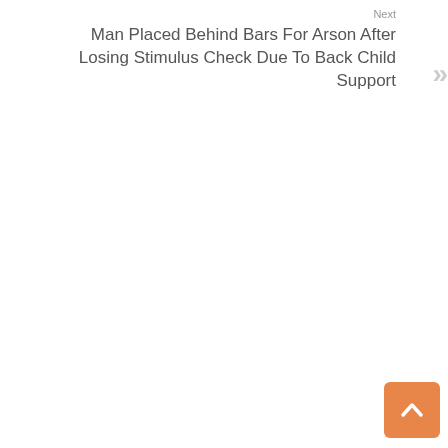Next
Man Placed Behind Bars For Arson After Losing Stimulus Check Due To Back Child Support